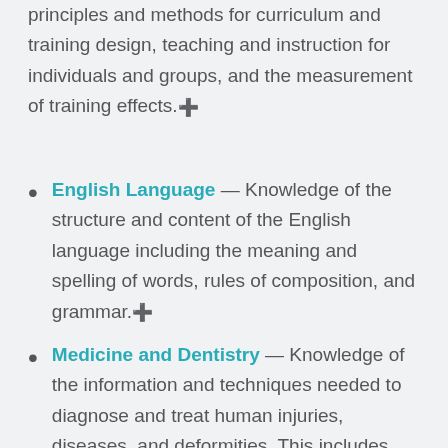principles and methods for curriculum and training design, teaching and instruction for individuals and groups, and the measurement of training effects.⊕
English Language — Knowledge of the structure and content of the English language including the meaning and spelling of words, rules of composition, and grammar.⊕
Medicine and Dentistry — Knowledge of the information and techniques needed to diagnose and treat human injuries, diseases, and deformities. This includes